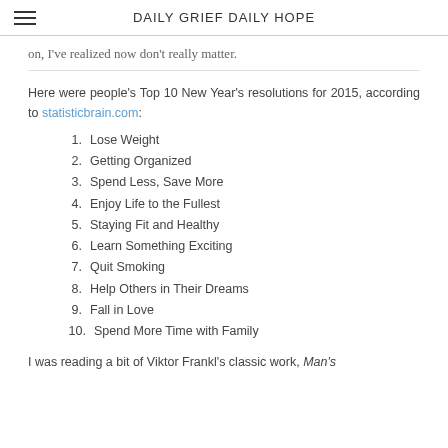DAILY GRIEF DAILY HOPE
on, I've realized now don't really matter.
Here were people's Top 10 New Year's resolutions for 2015, according to statisticbrain.com:
1. Lose Weight
2. Getting Organized
3. Spend Less, Save More
4. Enjoy Life to the Fullest
5. Staying Fit and Healthy
6. Learn Something Exciting
7. Quit Smoking
8. Help Others in Their Dreams
9. Fall in Love
10. Spend More Time with Family
I was reading a bit of Viktor Frankl's classic work, Man's